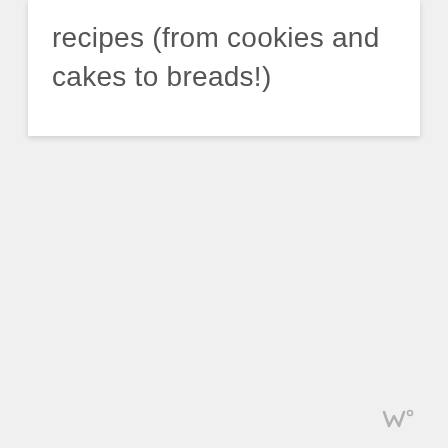recipes (from cookies and cakes to breads!)
[Figure (logo): Small logo mark in bottom right corner, resembling stylized letter W with a degree symbol]